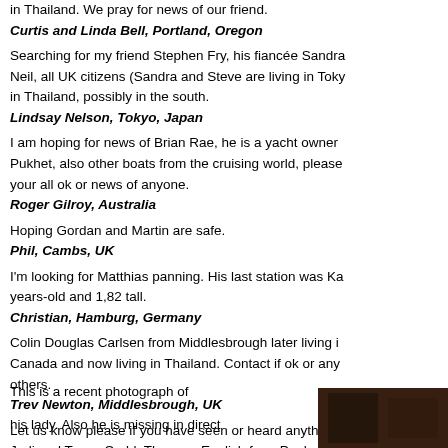in Thailand. We pray for news of our friend.
Curtis and Linda Bell, Portland, Oregon
Searching for my friend Stephen Fry, his fiancée Sandra Neil, all UK citizens (Sandra and Steve are living in Tokyo) in Thailand, possibly in the south.
Lindsay Nelson, Tokyo, Japan
I am hoping for news of Brian Rae, he is a yacht owner Pukhet, also other boats from the cruising world, please your all ok or news of anyone.
Roger Gilroy, Australia
Hoping Gordan and Martin are safe.
Phil, Cambs, UK
I'm looking for Matthias panning. His last station was Ka years-old and 1,82 tall.
Christian, Hamburg, Germany
Colin Douglas Carlsen from Middlesbrough later living i Canada and now living in Thailand. Contact if ok or any others.
Trev Newton, Middlesbrough, UK
Let us know please if you have seen or heard anything Judi and Tonny Codd. They are English from Paphos. T Thailand 18.12.04.
Galinahartley, Paphos, Cyprus
This is a recent photograph of his lady. Also he is missing in direct...
[Figure (photo): Dark/brown photograph in lower right corner, partially visible]